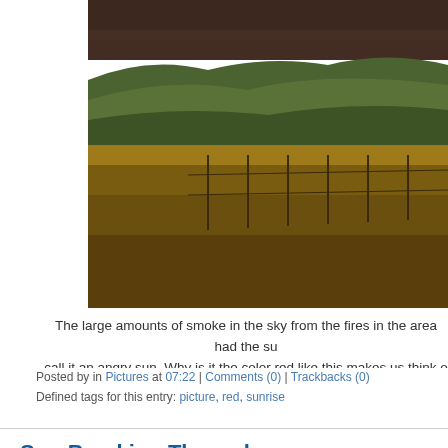[Figure (photo): Landscape photograph showing fields with dry golden grass, green rolling hills in the background, and a dark smoky sky at top. A fence line is visible in the middle ground.]
The large amounts of smoke in the sky from the fires in the area had the su call it an angry sun. Why is it the color red like this makes us think o
Posted by in Pictures at 07:22 | Comments (0) | Trackbacks (0)
Defined tags for this entry: picture, red, sunrise
Sun Breaking Through
[Figure (photo): Sky photograph showing dramatic clouds with sunlight breaking through, warm golden and blue tones.]